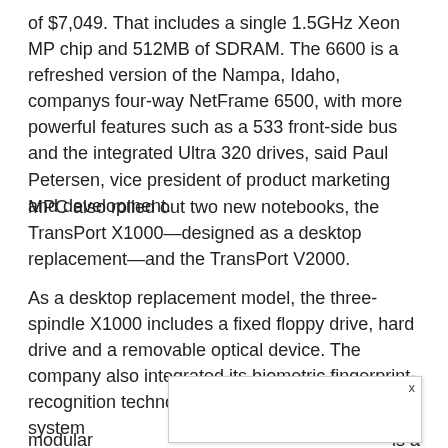of $7,049. That includes a single 1.5GHz Xeon MP chip and 512MB of SDRAM. The 6600 is a refreshed version of the Nampa, Idaho, companys four-way NetFrame 6500, with more powerful features such as a 533 front-side bus and the integrated Ultra 320 drives, said Paul Petersen, vice president of product marketing and development.
MPC also rolled out two new notebooks, the TransPort X1000—designed as a desktop replacement—and the TransPort V2000.
As a desktop replacement model, the three-spindle X1000 includes a fixed floppy drive, hard drive and a removable optical device. The company also integrated its biometric fingerprint-recognition technology for data security. The system modular is a